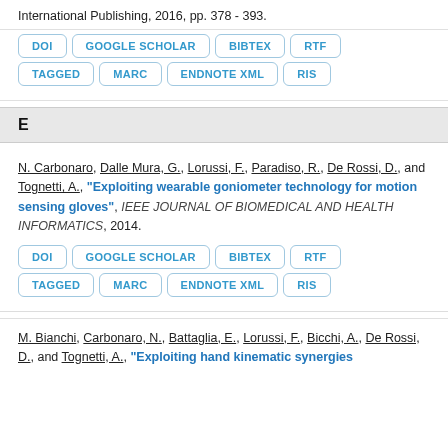International Publishing, 2016, pp. 378 - 393.
DOI | GOOGLE SCHOLAR | BIBTEX | RTF | TAGGED | MARC | ENDNOTE XML | RIS
E
N. Carbonaro, Dalle Mura, G., Lorussi, F., Paradiso, R., De Rossi, D., and Tognetti, A., “Exploiting wearable goniometer technology for motion sensing gloves”, IEEE JOURNAL OF BIOMEDICAL AND HEALTH INFORMATICS, 2014.
DOI | GOOGLE SCHOLAR | BIBTEX | RTF | TAGGED | MARC | ENDNOTE XML | RIS
M. Bianchi, Carbonaro, N., Battaglia, E., Lorussi, F., Bicchi, A., De Rossi, D., and Tognetti, A., “Exploiting hand kinematic synergies...